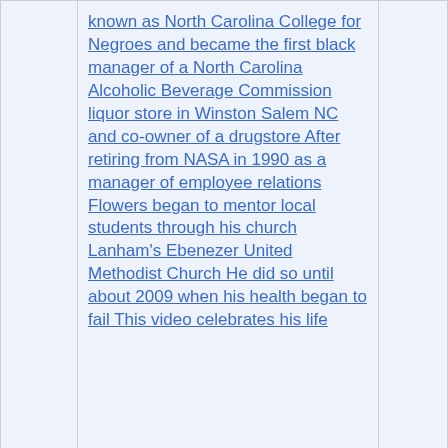| # | Title | Count |
| --- | --- | --- |
|  | known as North Carolina College for Negroes and became the first black manager of a North Carolina Alcoholic Beverage Commission liquor store in Winston Salem NC and co-owner of a drugstore After retiring from NASA in 1990 as a manager of employee relations Flowers began to mentor local students through his church Lanham's Ebenezer United Methodist Church He did so until about 2009 when his health began to fail This video celebrates his life |  |
| 34 | NASA | 1 |
| 35 | Η NASA επιλέγει προτάσεις για τη μελέτη πτητικών αστέρων γαλαξιών κοσμικών συγκρούσεων | 1 |
| 36 | NASA escolhe SpaceX para nova missão espacial com foco na Lua SAPO | 1 |
| 37 | ... | 1 |